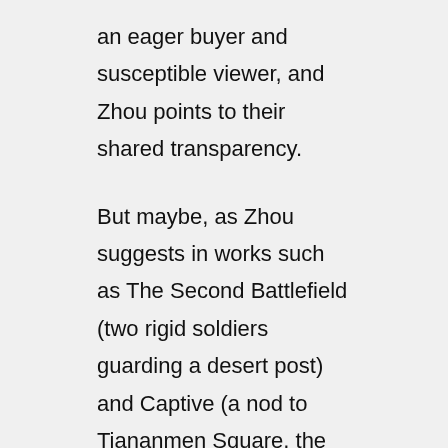an eager buyer and susceptible viewer, and Zhou points to their shared transparency.
But maybe, as Zhou suggests in works such as The Second Battlefield (two rigid soldiers guarding a desert post) and Captive (a nod to Tiananmen Square, the site of multiple protests in the last century), it's not that the Chinese have simply fallen into a contented silence with their new abundance of material goods. It could be that it's in their best practical interests not to remember too deeply, let alone give voice to their memory, in a country where political dissenters are regularly jailed without trial. By focusing on economic progress alone, they are